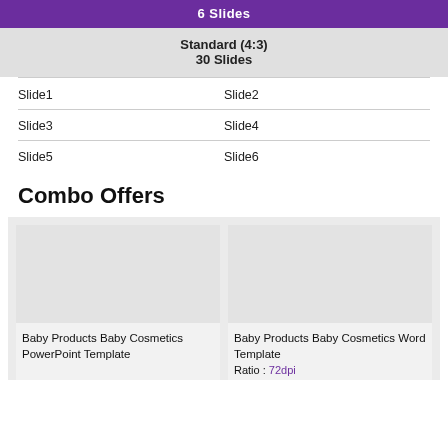6 Slides
Standard (4:3)
30 Slides
Slide1
Slide2
Slide3
Slide4
Slide5
Slide6
Combo Offers
[Figure (other): Baby Products Baby Cosmetics PowerPoint Template card placeholder]
Baby Products Baby Cosmetics PowerPoint Template
[Figure (other): Baby Products Baby Cosmetics Word Template card placeholder]
Baby Products Baby Cosmetics Word Template
Ratio : 72dpi